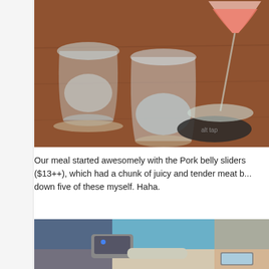[Figure (photo): Photo of drinks on a wooden bar table: water glasses and a cocktail in a tall stemmed glass with a pink/orange drink, with a coaster visible reading 'alt tap' or similar text]
Our meal started awesomely with the Pork belly sliders ($13++), which had a chunk of juicy and tender meat b... down five of these myself. Haha.
[Figure (photo): Photo of people at a restaurant table, someone holding a camera or device, with a phone visible on the table]